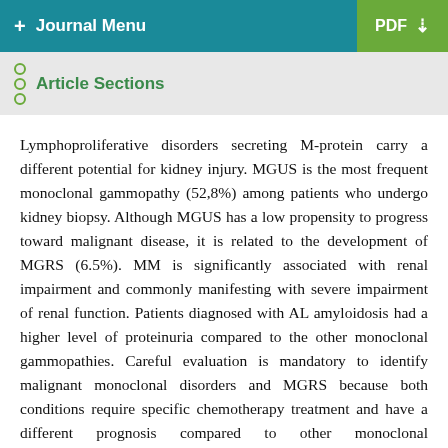+ Journal Menu   PDF ↓
Article Sections
Lymphoproliferative disorders secreting M-protein carry a different potential for kidney injury. MGUS is the most frequent monoclonal gammopathy (52,8%) among patients who undergo kidney biopsy. Although MGUS has a low propensity to progress toward malignant disease, it is related to the development of MGRS (6.5%). MM is significantly associated with renal impairment and commonly manifesting with severe impairment of renal function. Patients diagnosed with AL amyloidosis had a higher level of proteinuria compared to the other monoclonal gammopathies. Careful evaluation is mandatory to identify malignant monoclonal disorders and MGRS because both conditions require specific chemotherapy treatment and have a different prognosis compared to other monoclonal gammopathies.
Data Availability